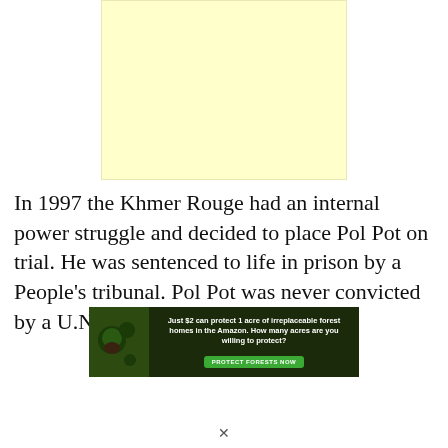[Figure (other): Light yellow advertisement placeholder box]
In 1997 the Khmer Rouge had an internal power struggle and decided to place Pol Pot on trial. He was sentenced to life in prison by a People's tribunal. Pol Pot was never convicted by a U.N. court or any other
[Figure (other): Banner advertisement: Just $2 can protect 1 acre of irreplaceable forest homes in the Amazon. How many acres are you willing to protect? PROTECT FORESTS NOW]